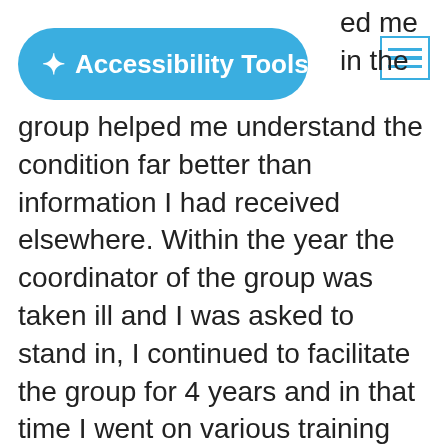[Figure (other): Blue rounded pill-shaped button labeled 'Accessibility Tools' with a person/accessibility icon, positioned top-left. A blue menu hamburger icon (three horizontal lines in a rectangle border) is in the top-right.]
ed me in the group, the group helped me understand the condition far better than information I had received elsewhere. Within the year the coordinator of the group was taken ill and I was asked to stand in, I continued to facilitate the group for 4 years and in that time I went on various training courses to learn more about Tourettes Syndrome and how to help support children in the classroom.

In 2018, alongside my friend and fellow TS mum Bev, we decided more needed to be done in the local area. Getting a great team